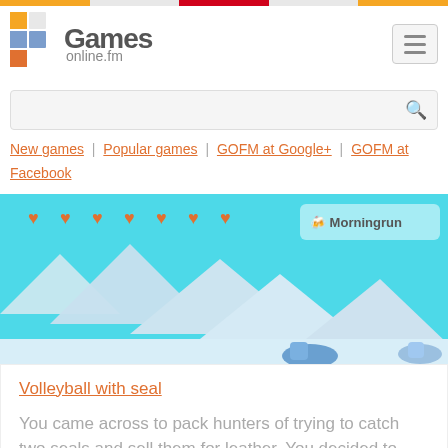Games online.fm
New games | Popular games | GOFM at Google+ | GOFM at Facebook
[Figure (screenshot): Screenshot of a game (Volleyball with seal) showing a cyan sky background with snow/ice mountains, heart icons at the top, and game characters at the bottom.]
Volleyball with seal
You came across to pack hunters of trying to catch two seals and sell them for leather. You decided to help poor seals. So you ...